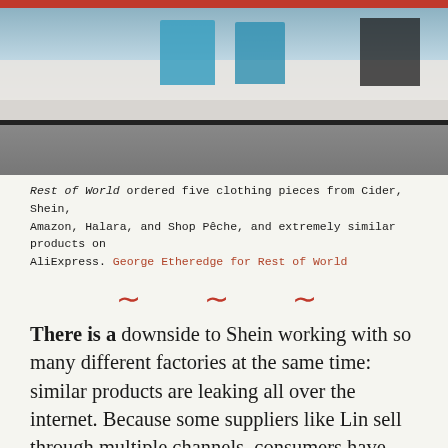[Figure (photo): Clothes hanging outdoors against a white wall, photographed by George Etheredge for Rest of World. Red bar at top edge.]
Rest of World ordered five clothing pieces from Cider, Shein, Amazon, Halara, and Shop Pêche, and extremely similar products on AliExpress. George Etheredge for Rest of World
~ ~ ~
There is a downside to Shein working with so many different factories at the same time: similar products are leaking all over the internet. Because some suppliers like Lin sell through multiple channels, consumers have complained on social media about seeing the same clothes appear on Shein, AliExpress